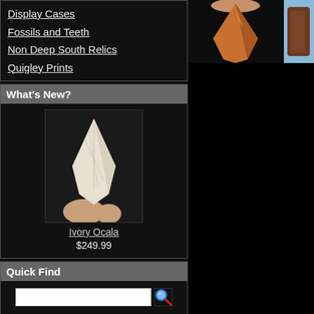Display Cases
Fossils and Teeth
Non Deep South Relics
Quigley Prints
What's New?
[Figure (photo): Hand holding an ivory-colored Ocala arrowhead/projectile point against a black background]
Ivory Ocala
$249.99
Quick Find
Use keywords to find the product you are looking for.
Advanced Search
Artifacts E-Zine
[Figure (photo): An orange/tan arrowhead held between fingers against a dark background]
[Figure (photo): Partial view of a brown artifact against a light blue background]
Reviews